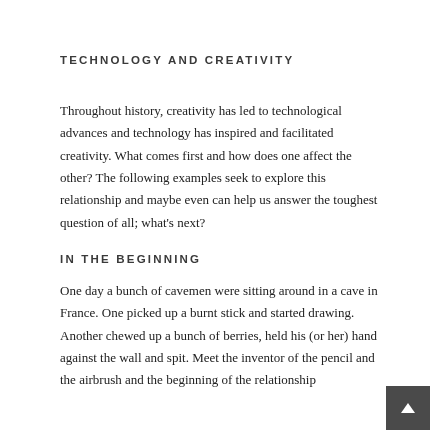TECHNOLOGY AND CREATIVITY
Throughout history, creativity has led to technological advances and technology has inspired and facilitated creativity. What comes first and how does one affect the other? The following examples seek to explore this relationship and maybe even can help us answer the toughest question of all; what's next?
IN THE BEGINNING
One day a bunch of cavemen were sitting around in a cave in France. One picked up a burnt stick and started drawing. Another chewed up a bunch of berries, held his (or her) hand against the wall and spit. Meet the inventor of the pencil and the airbrush and the beginning of the relationship between technology and creativity. The